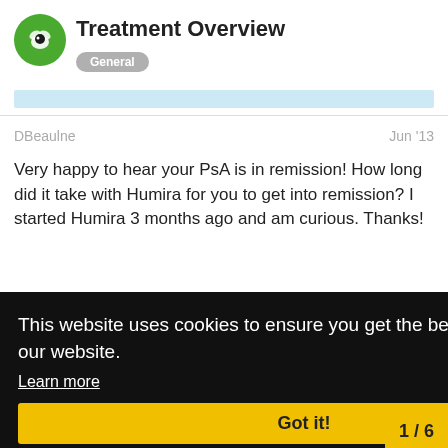Treatment Overview — General
DBeaulne   Jun '13
Very happy to hear your PsA is in remission! How long did it take with Humira for you to get into remission? I started Humira 3 months ago and am curious. Thanks!
Jun '13
My PSA was in remission from Enbrel and I'd say it took 2 months to get to 100%. It hasn't come out of remission yet. My psoriasis started acting up last fall. After about two months, the Humira seems to be getting wouldn't characterize it as remission yet.
This website uses cookies to ensure you get the best experience on our website.
Learn more
Got it!
1 / 6